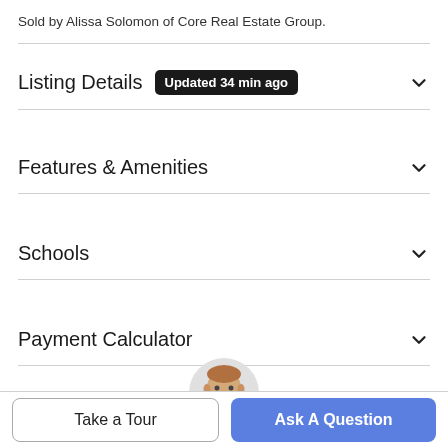Sold by Alissa Solomon of Core Real Estate Group.
Listing Details  Updated 34 min ago
Features & Amenities
Schools
Payment Calculator
Contact Agent
[Figure (photo): Agent headshot photo of a man in a suit]
Take a Tour
Ask A Question